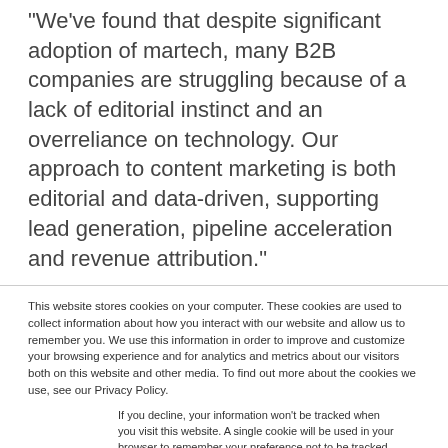“We’ve found that despite significant adoption of martech, many B2B companies are struggling because of a lack of editorial instinct and an overreliance on technology. Our approach to content marketing is both editorial and data-driven, supporting lead generation, pipeline acceleration and revenue attribution.”
This website stores cookies on your computer. These cookies are used to collect information about how you interact with our website and allow us to remember you. We use this information in order to improve and customize your browsing experience and for analytics and metrics about our visitors both on this website and other media. To find out more about the cookies we use, see our Privacy Policy.
If you decline, your information won’t be tracked when you visit this website. A single cookie will be used in your browser to remember your preference not to be tracked.